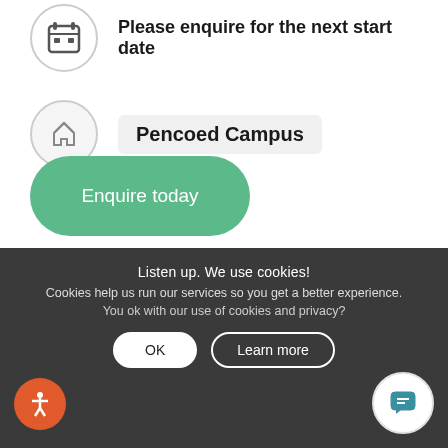Please enquire for the next start date
Pencoed Campus
[Figure (screenshot): Green rounded button labeled 'Enquire today']
[Figure (screenshot): Dark teal rounded button labeled 'Open events']
Listen up. We use cookies!
Cookies help us run our services so you get a better experience.
You ok with our use of cookies and privacy?
This is the 00210B – City & Guilds NPTC Level ... ard in Aeri... ...Chainsa... ng Free-fall Techniques (formerly known as
[Figure (screenshot): OK button (white pill shape) and Learn more button (outlined dark pill shape)]